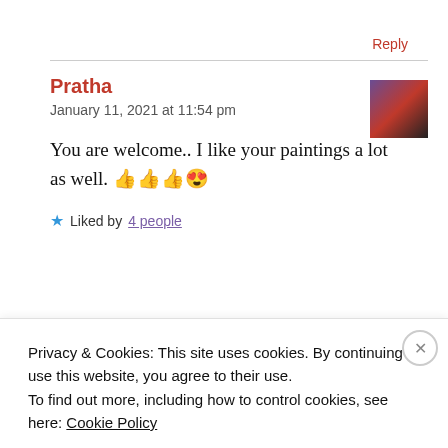Reply
Pratha
January 11, 2021 at 11:54 pm
You are welcome.. I like your paintings a lot as well. 👍👍👍😍
★ Liked by 4 people
Privacy & Cookies: This site uses cookies. By continuing to use this website, you agree to their use.
To find out more, including how to control cookies, see here: Cookie Policy
Close and accept